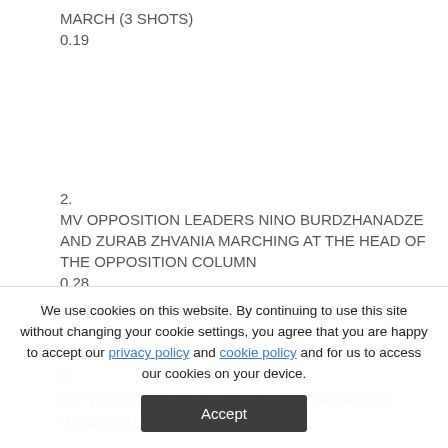MARCH (3 SHOTS)
0.19
2.
MV OPPOSITION LEADERS NINO BURDZHANADZE AND ZURAB ZHVANIA MARCHING AT THE HEAD OF THE OPPOSITION COLUMN
0.28
3.
MV YOUNG MEN CARRYING FLAGS READING "ENOUGH";
We use cookies on this website. By continuing to use this site without changing your cookie settings, you agree that you are happy to accept our privacy policy and cookie policy and for us to access our cookies on your device.
Accept